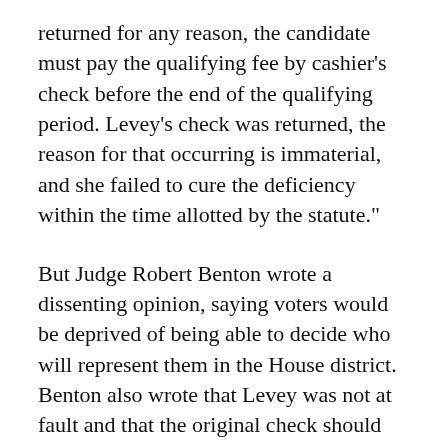returned for any reason, the candidate must pay the qualifying fee by cashier's check before the end of the qualifying period. Levey's check was returned, the reason for that occurring is immaterial, and she failed to cure the deficiency within the time allotted by the statute."
But Judge Robert Benton wrote a dissenting opinion, saying voters would be deprived of being able to decide who will represent them in the House district. Benton also wrote that Levey was not at fault and that the original check should again be presented to the bank.
"Promptly on being informed of the first check's dishonor when initially presented, Mrs. Levey tendered a second check, this one certified." Benton